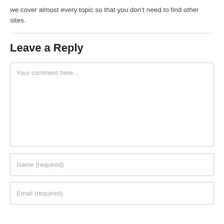we cover almost every topic so that you don't need to find other sites.
Leave a Reply
Your comment here...
Name (required)
Email (required)